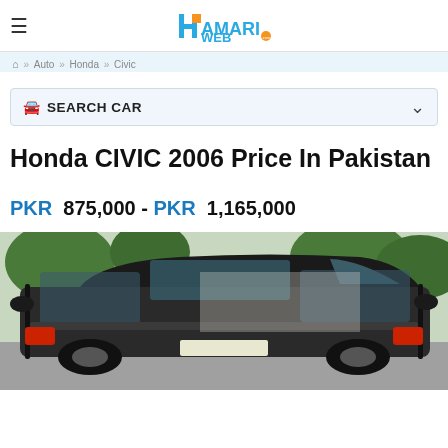HamariWeb - Auto > Honda > Civic
Home » Auto » Honda » Civic
🚗 SEARCH CAR
Honda CIVIC 2006 Price In Pakistan
PKR 875,000 - PKR 1,165,000
[Figure (photo): Photo of Honda Civic 2006 car, showing rear/side view with doors open, parked outdoors with trees in background]